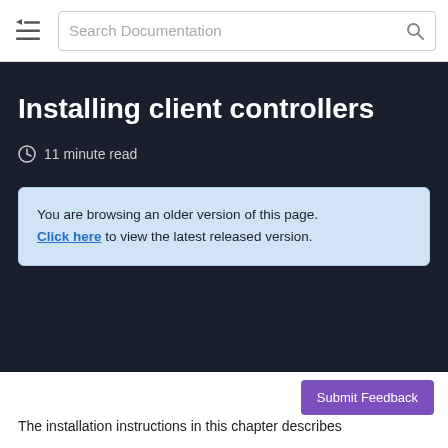Search Documentation
Installing client controllers
11 minute read
You are browsing an older version of this page. Click here to view the latest released version.
Submit Feedback
The installation instructions in this chapter describes